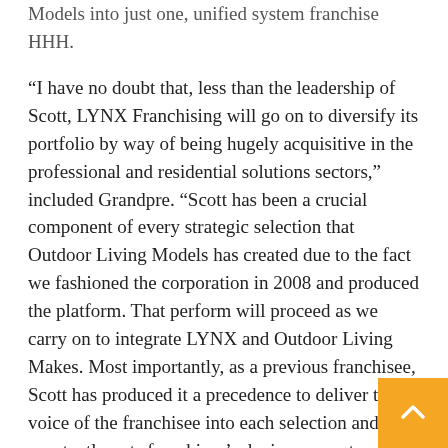Models into just one, unified system franchise HHH.
“I have no doubt that, less than the leadership of Scott, LYNX Franchising will go on to diversify its portfolio by way of being hugely acquisitive in the professional and residential solutions sectors,” included Grandpre. “Scott has been a crucial component of every strategic selection that Outdoor Living Models has created due to the fact we fashioned the corporation in 2008 and produced the platform. That perform will proceed as we carry on to integrate LYNX and Outdoor Living Makes. Most importantly, as a previous franchisee, Scott has produced it a precedence to deliver the voice of the franchisee into each selection and constantly puts franchisee’s device amount economics 1st.”
LYNX Franchising is a portfolio business of MidOcean Associates, a primary personal fairness...